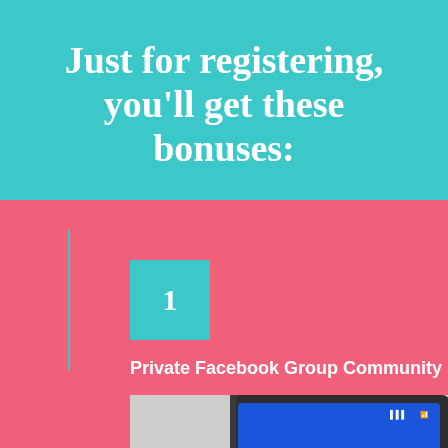Just for registering, you'll get these bonuses:
1
Private Facebook Group Community
[Figure (photo): A tablet displaying the Facebook logo/app on a blue screen, showing the word 'facebook' in white text on a blue background]